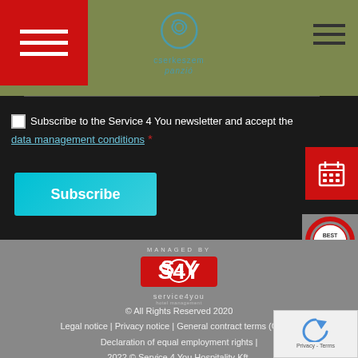[Figure (screenshot): Website header with olive/khaki green background, red square with hamburger menu icon on left, circular logo with 'cserkeszem panzio' text in center, hamburger menu icon on right]
Subscribe to the Service 4 You newsletter and accept the data management conditions *
Subscribe
[Figure (logo): MANAGED BY S4Y service4you logo on gray background]
© All Rights Reserved 2020
Legal notice | Privacy notice | General contract terms (GCT) | Declaration of equal employment rights |
2022 © Service 4 You Hospitality Kft.